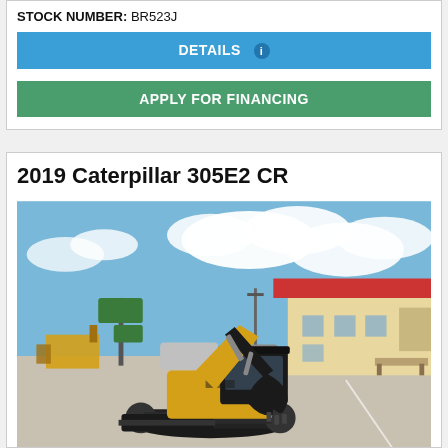STOCK NUMBER: BR523J
DETAILS
APPLY FOR FINANCING
2019 Caterpillar 305E2 CR
[Figure (photo): A 2019 Caterpillar 305E2 CR mini excavator parked in a parking lot. The machine is yellow/black with a bucket attachment and blade. Background shows a red-roofed building, road signs, vehicles, and a partly cloudy blue sky.]